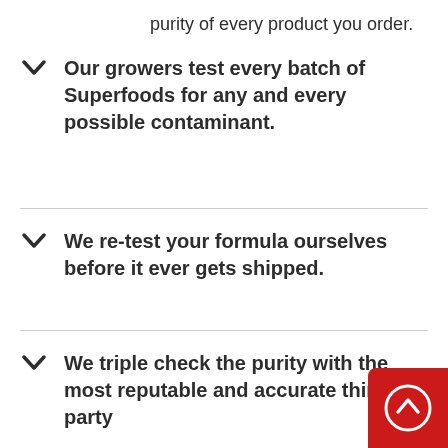purity of every product you order.
Our growers test every batch of Superfoods for any and every possible contaminant.
We re-test your formula ourselves before it ever gets shipped.
We triple check the purity with the most reputable and accurate third party